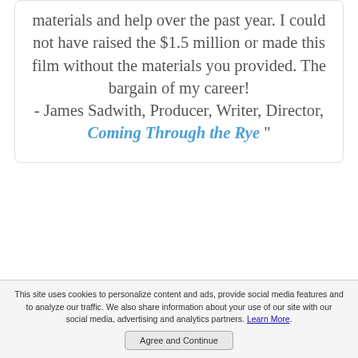materials and help over the past year. I could not have raised the $1.5 million or made this film without the materials you provided. The bargain of my career! - James Sadwith, Producer, Writer, Director, Coming Through the Rye "
This site uses cookies to personalize content and ads, provide social media features and to analyze our traffic. We also share information about your use of our site with our social media, advertising and analytics partners. Learn More.
Agree and Continue